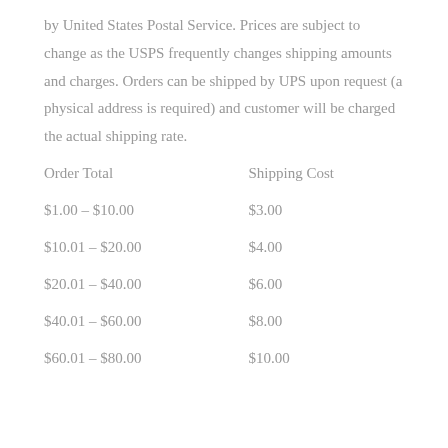by United States Postal Service. Prices are subject to change as the USPS frequently changes shipping amounts and charges. Orders can be shipped by UPS upon request (a physical address is required) and customer will be charged the actual shipping rate.
| Order Total | Shipping Cost |
| --- | --- |
| $1.00 – $10.00 | $3.00 |
| $10.01 – $20.00 | $4.00 |
| $20.01 – $40.00 | $6.00 |
| $40.01 – $60.00 | $8.00 |
| $60.01 – $80.00 | $10.00 |